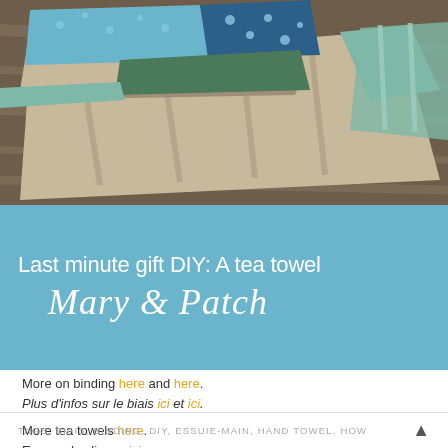[Figure (photo): A folded tea towel with patchwork fabric in teal, blue floral, and beige linen patterns, placed on a wooden surface.]
Last minute gift DIY: A tea towel
Mary & Patch
More on binding here and here.
Plus d'infos sur le biais ici et ici.
More tea towels here.
Encore des linges ici.
TAGS: BIAIS, BINDING, DIY, ESSUIE-MAIN, HAND TOWEL, HOW